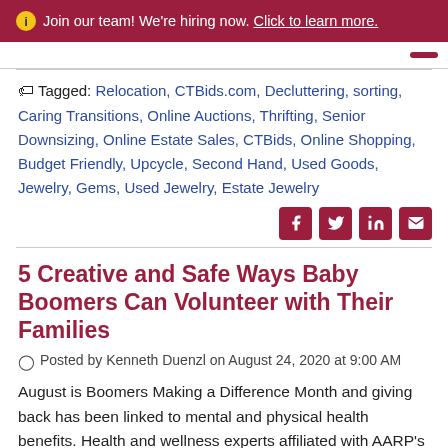ⓘ Join our team! We're hiring now. Click to learn more.
Tagged: Relocation, CTBids.com, Decluttering, sorting, Caring Transitions, Online Auctions, Thrifting, Senior Downsizing, Online Estate Sales, CTBids, Online Shopping, Budget Friendly, Upcycle, Second Hand, Used Goods, Jewelry, Gems, Used Jewelry, Estate Jewelry
5 Creative and Safe Ways Baby Boomers Can Volunteer with Their Families
Posted by Kenneth Duenzl on August 24, 2020 at 9:00 AM
August is Boomers Making a Difference Month and giving back has been linked to mental and physical health benefits. Health and wellness experts affiliated with AARP's Create the Good program